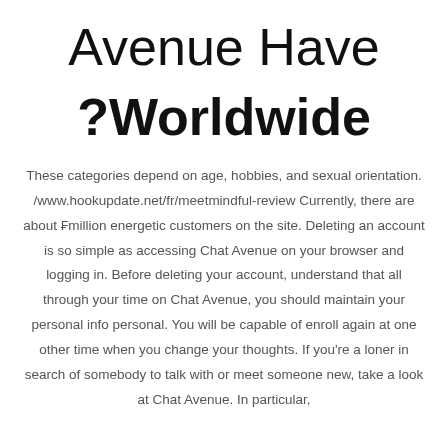Avenue Have ?Worldwide
These categories depend on age, hobbies, and sexual orientation. /www.hookupdate.net/fr/meetmindful-review Currently, there are about ₣million energetic customers on the site. Deleting an account is so simple as accessing Chat Avenue on your browser and logging in. Before deleting your account, understand that all through your time on Chat Avenue, you should maintain your personal info personal. You will be capable of enroll again at one other time when you change your thoughts. If you're a loner in search of somebody to talk with or meet someone new, take a look at Chat Avenue. In particular,